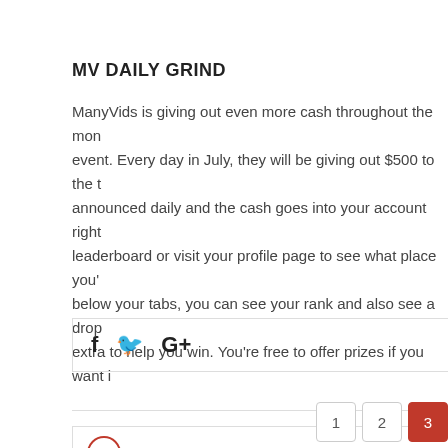MV DAILY GRIND
ManyVids is giving out even more cash throughout the month with this event. Every day in July, they will be giving out $500 to the top announced daily and the cash goes into your account right away. Check the leaderboard or visit your profile page to see what place you're in. Right below your tabs, you can see your rank and also see a drop down to do extra to help you win. You're free to offer prizes if you want i
[Figure (other): Social sharing icons: Facebook (f), Twitter (bird), Google+ (G+) in a bordered bar]
← Previous  1  2  3